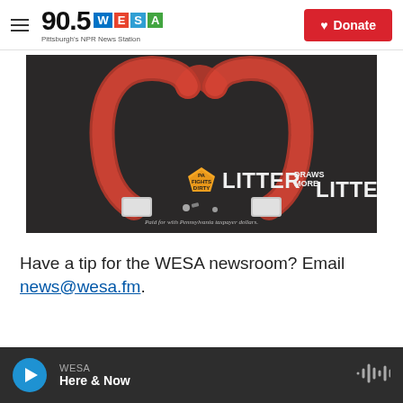90.5 WESA — Pittsburgh's NPR News Station | Donate
[Figure (photo): PA Fights Dirty anti-litter advertisement showing a horseshoe magnet shape made of red litter/trash on dark asphalt. Text reads: LITTER DRAWS MORE LITTER. PA FIGHTS DIRTY logo shown. Caption: Paid for with Pennsylvania taxpayer dollars.]
Have a tip for the WESA newsroom? Email news@wesa.fm.
WESA — Here & Now (player bar)